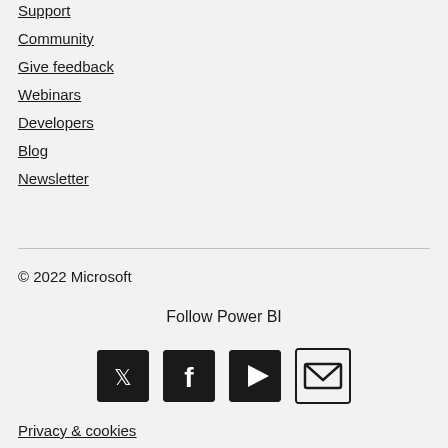Support
Community
Give feedback
Webinars
Developers
Blog
Newsletter
© 2022 Microsoft
Follow Power BI
[Figure (infographic): Social media icons: Twitter, Facebook, YouTube, Email]
Privacy & cookies